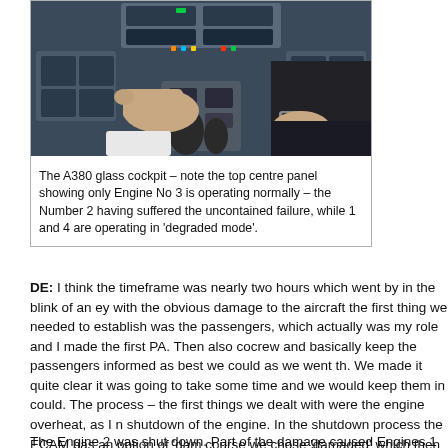[Figure (photo): A380 glass cockpit interior showing pilot hands on controls, with instrument panels visible including the top centre panel]
The A380 glass cockpit – note the top centre panel showing only Engine No 3 is operating normally – the Number 2 having suffered the uncontained failure, while 1 and 4 are operating in 'degraded mode'.
DE: I think the timeframe was nearly two hours which went by in the blink of an eye; with the obvious damage to the aircraft the first thing we needed to establish was the passengers, which actually was my role and I made the first PA. Then also co-crew and basically keep the passengers informed as best we could as we went th. We made it quite clear it was going to take some time and we would keep them in could. The process – the first things we dealt with were the engine overheat, as I n shutdown of the engine. In the shutdown process the ECAM has an option of 'dam course we chose 'damaged' which then leads you through discharging some fire b the engine down with the fire shut-off switch. We did that but unfortunately we got any fire bottles being discharged. Subsequently that was more wiring damage tha indication. As it turns out, we did have one discharged bottle and one that didn't w
The Engine 2 was shut down. Part of the damage caused Engines 1 & 4 to go into